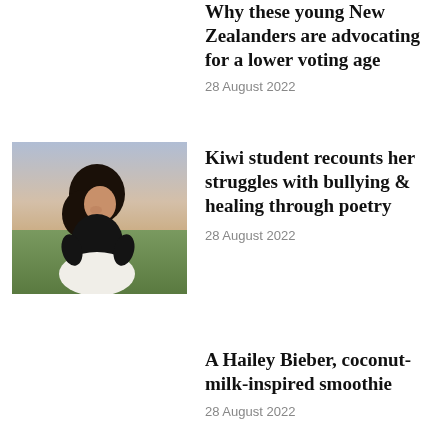Why these young New Zealanders are advocating for a lower voting age
28 August 2022
[Figure (photo): Young woman with dark hair sitting in a field at dusk, wearing a black top and white skirt]
Kiwi student recounts her struggles with bullying & healing through poetry
28 August 2022
A Hailey Bieber, coconut-milk-inspired smoothie
28 August 2022